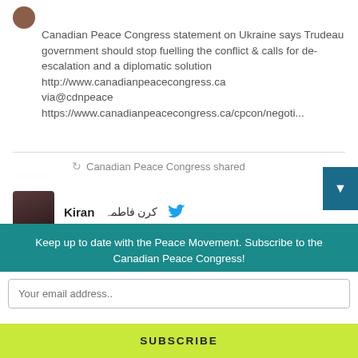[Figure (photo): Small circular profile picture of a person]
Canadian Peace Congress statement on Ukraine says Trudeau government should stop fuelling the conflict & calls for de-escalation and a diplomatic solution http://www.canadianpeacecongress.ca via@cdnpeace https://www.canadianpeacecongress.ca/cpcon/negoti...
Canadian Peace Congress shared
[Figure (photo): Square profile picture of Kiran, a person with dark hair]
Kiran كرن فاطمہ [Twitter bird icon]
Happy Mothers' Day to all moms and people who mother others. Thank you
Keep up to date with the Peace Movement. Subscribe to the Canadian Peace Congress!
Your email address..
SUBSCRIBE